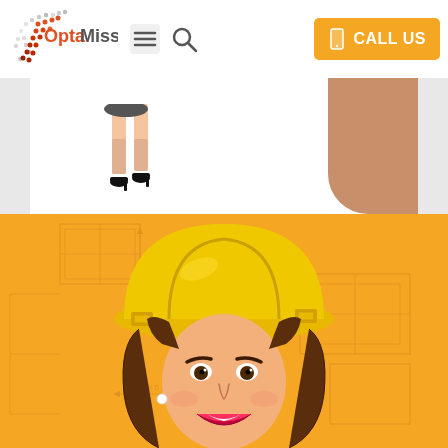[Figure (logo): OptaMiss logo with colorful dot pattern forming a bird/arrow shape and red-orange text 'OptaMiss']
[Figure (illustration): Navigation bar with hamburger menu icon, search icon, and orange 'CALL US' button with phone icon]
[Figure (illustration): Partial white card section showing cartoon legs of a business woman in heels on the left and a partial image of a woman's arm on the right]
[Figure (illustration): Orange section with blueprint/engineering drawing background patterns, featuring a cartoon woman wearing a yellow hard hat with brown hair, smiling]